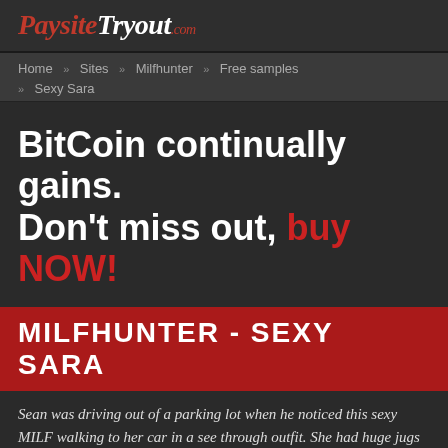PaysiteTryout.com
Home » Sites » Milfhunter » Free samples » Sexy Sara
BitCoin continually gains. Don't miss out, buy NOW!
MILFHUNTER - SEXY SARA
Sean was driving out of a parking lot when he noticed this sexy MILF walking to her car in a see through outfit. She had huge jugs and Sean called her over. He pretended like